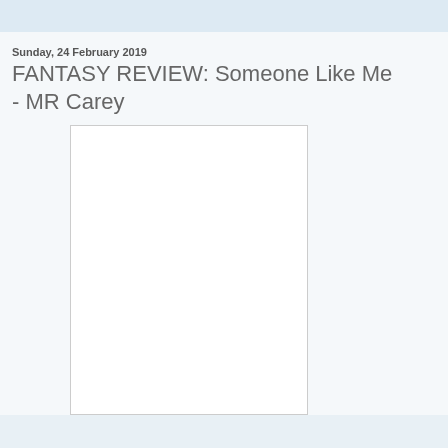Sunday, 24 February 2019
FANTASY REVIEW: Someone Like Me - MR Carey
[Figure (photo): Book cover image placeholder — white rectangle with light grey border, no visible content]